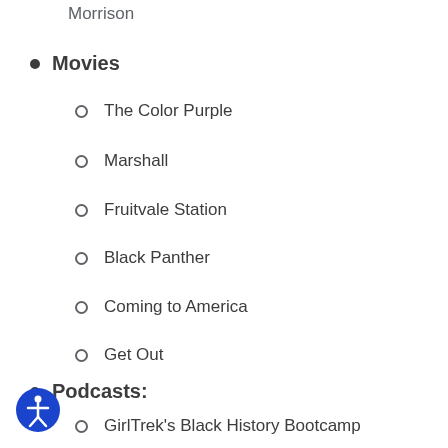Morrison
Movies
The Color Purple
Marshall
Fruitvale Station
Black Panther
Coming to America
Get Out
Podcasts:
GirlTrek's Black History Bootcamp
Black History Year
Black History Two Minutes...